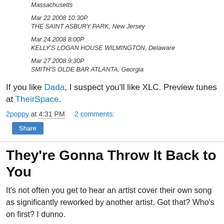Massachusetts
Mar 22 2008 10:30P
THE SAINT ASBURY PARK, New Jersey
Mar 24 2008 8:00P
KELLY'S LOGAN HOUSE WILMINGTON, Delaware
Mar 27 2008 9:30P
SMITH'S OLDE BAR ATLANTA, Georgia
If you like Dada, I suspect you'll like XLC. Preview tunes at TheirSpace.
2poppy at 4:31 PM    2 comments:
They're Gonna Throw It Back to You
It's not often you get to hear an artist cover their own song as significantly reworked by another artist. Got that? Who's on first? I dunno.